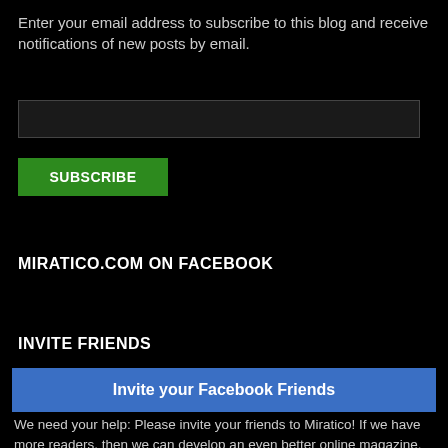Enter your email address to subscribe to this blog and receive notifications of new posts by email.
[Figure (other): Email input text field (dark background, dark border)]
SUBSCRIBE
MIRATICO.COM ON FACEBOOK
INVITE FRIENDS
Invite your Facebook Friends
We need your help: Please invite your friends to Miratico! If we have more readers, then we can develop an even better online magazine.